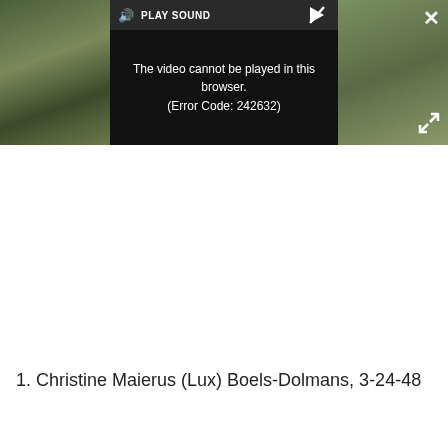[Figure (screenshot): Video player screenshot showing a dark gray player bar with a video area in the center displaying an error message 'The video cannot be played in this browser. (Error Code: 242632)'. There is a PLAY SOUND button at the top of the video area, a close (X) button at top-right, and an expand button at bottom-right. Landscape thumbnail images visible on left and right sides of the player.]
1. Christine Maierus (Lux) Boels-Dolmans, 3-24-48